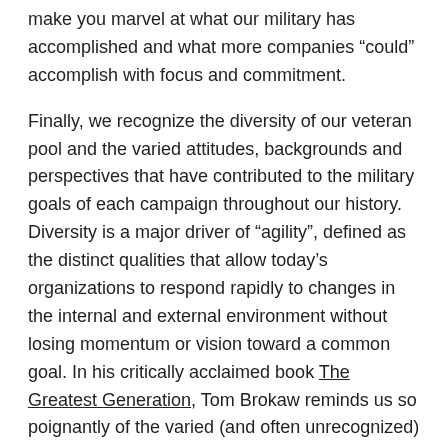make you marvel at what our military has accomplished and what more companies “could” accomplish with focus and commitment.
Finally, we recognize the diversity of our veteran pool and the varied attitudes, backgrounds and perspectives that have contributed to the military goals of each campaign throughout our history. Diversity is a major driver of “agility”, defined as the distinct qualities that allow today’s organizations to respond rapidly to changes in the internal and external environment without losing momentum or vision toward a common goal. In his critically acclaimed book The Greatest Generation, Tom Brokaw reminds us so poignantly of the varied (and often unrecognized) contributions of American servicemen and servicewomen representing the full melting pot of our great nation. The opportunity for today’s business leaders is to look at their own pools of talent and challenge the extent to which sufficient levels of diversity and creative thinking are addressing the key strategies of the business. Just as military units adapt and change course to address new priorities, our businesses